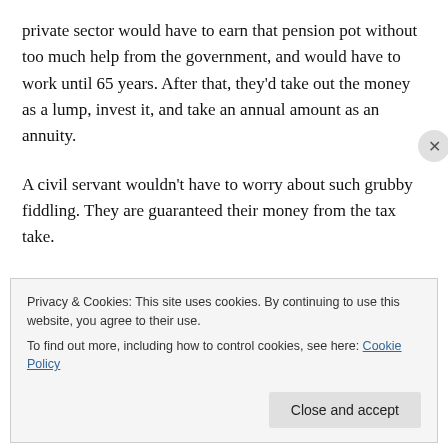private sector would have to earn that pension pot without too much help from the government, and would have to work until 65 years. After that, they'd take out the money as a lump, invest it, and take an annual amount as an annuity.
A civil servant wouldn't have to worry about such grubby fiddling. They are guaranteed their money from the tax take.
At present the police spend about half their annual
Privacy & Cookies: This site uses cookies. By continuing to use this website, you agree to their use.
To find out more, including how to control cookies, see here: Cookie Policy
Close and accept